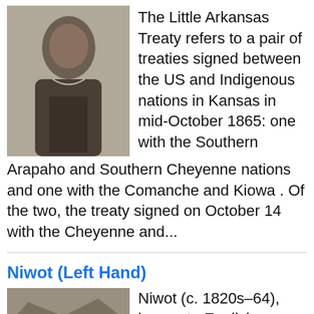[Figure (photo): Black and white portrait photograph of a woman in 19th century dress]
The Little Arkansas Treaty refers to a pair of treaties signed between the US and Indigenous nations in Kansas in mid-October 1865: one with the Southern Arapaho and Southern Cheyenne nations and one with the Comanche and Kiowa . Of the two, the treaty signed on October 14 with the Cheyenne and...
Niwot (Left Hand)
[Figure (photo): Black and white group photograph of Native American individuals]
Niwot (c. 1820s–64), known to English speakers as "Left Hand," was a prominent Arapaho leader in the mid-1800s. The tumultuous period in Colorado history followed the 1858 discovery of